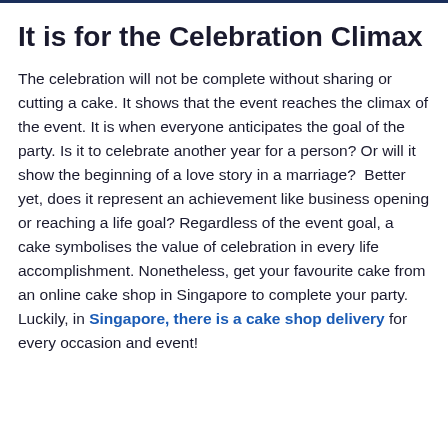It is for the Celebration Climax
The celebration will not be complete without sharing or cutting a cake. It shows that the event reaches the climax of the event. It is when everyone anticipates the goal of the party. Is it to celebrate another year for a person? Or will it show the beginning of a love story in a marriage?  Better yet, does it represent an achievement like business opening or reaching a life goal? Regardless of the event goal, a cake symbolises the value of celebration in every life accomplishment. Nonetheless, get your favourite cake from an online cake shop in Singapore to complete your party. Luckily, in Singapore, there is a cake shop delivery for every occasion and event!